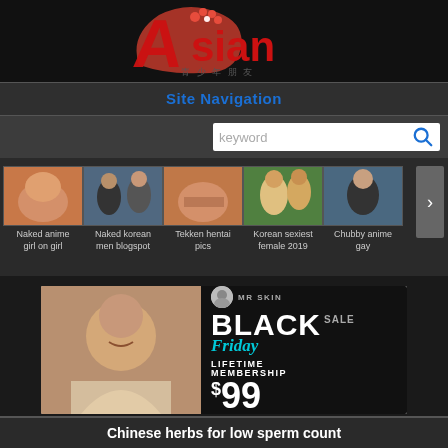[Figure (logo): Asian website logo with red stylized letter A and flower, with subtitle text]
Site Navigation
[Figure (screenshot): Search bar with keyword placeholder and search icon]
[Figure (photo): Thumbnail strip with 5 adult content thumbnails and right arrow navigation]
Naked anime girl on girl
Naked korean men blogspot
Tekken hentai pics
Korean sexiest female 2019
Chubby anime gay
[Figure (infographic): MR SKIN Black Friday Sale advertisement - Lifetime Membership $99]
Chinese herbs for low sperm count